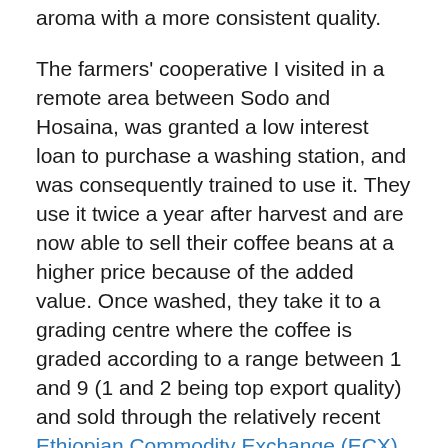aroma with a more consistent quality.
The farmers' cooperative I visited in a remote area between Sodo and Hosaina, was granted a low interest loan to purchase a washing station, and was consequently trained to use it. They use it twice a year after harvest and are now able to sell their coffee beans at a higher price because of the added value. Once washed, they take it to a grading centre where the coffee is graded according to a range between 1 and 9 (1 and 2 being top export quality) and sold through the relatively recent Ethiopian Commodity Exchange (ECX). I will not elaborate further about the ECX trading system, as it is quite controversial with some parties saying that it has worsen the value-chain and killed the speciality origin, while others are saying that it has helped improved the quality of the beans at small farmers level. The whole issue is quite unclear.